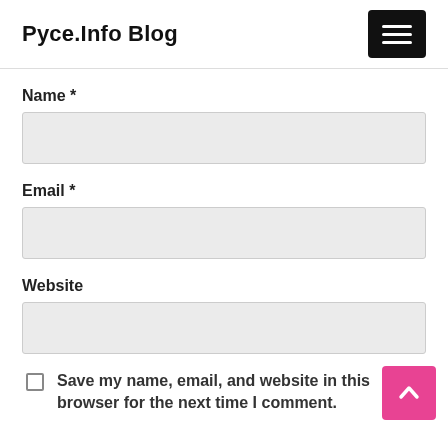Pyce.Info Blog
Name *
Email *
Website
Save my name, email, and website in this browser for the next time I comment.